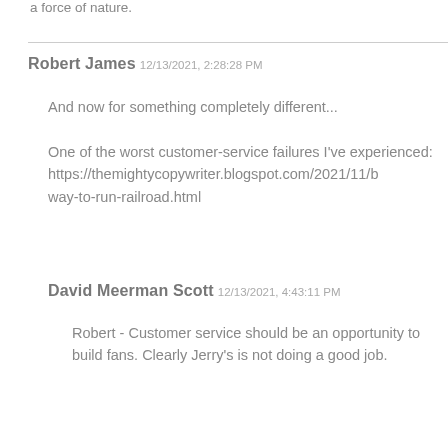a force of nature.
Robert James 12/13/2021, 2:28:28 PM
And now for something completely different...

One of the worst customer-service failures I've experienced:
https://themightycopywriter.blogspot.com/2021/11/b way-to-run-railroad.html
David Meerman Scott 12/13/2021, 4:43:11 PM
Robert - Customer service should be an opportunity to build fans. Clearly Jerry's is not doing a good job.